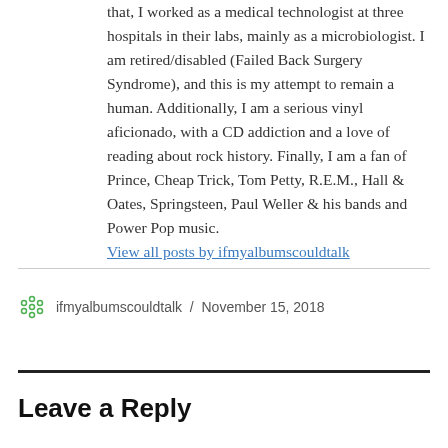that, I worked as a medical technologist at three hospitals in their labs, mainly as a microbiologist. I am retired/disabled (Failed Back Surgery Syndrome), and this is my attempt to remain a human. Additionally, I am a serious vinyl aficionado, with a CD addiction and a love of reading about rock history. Finally, I am a fan of Prince, Cheap Trick, Tom Petty, R.E.M., Hall & Oates, Springsteen, Paul Weller & his bands and Power Pop music. View all posts by ifmyalbumscouldtalk
ifmyalbumscouldtalk / November 15, 2018
Leave a Reply